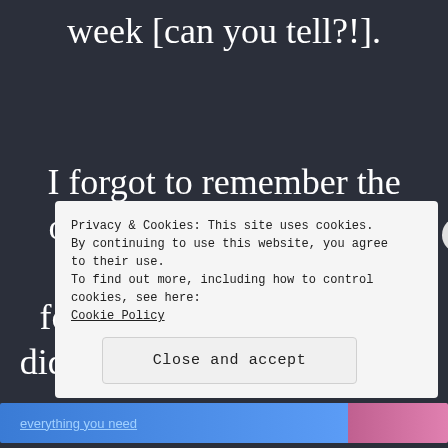week [can you tell?!].
I forgot to remember the opportunities that I have been granted. I was focusing on the fact that I didn't have EXACTLY what I
Privacy & Cookies: This site uses cookies. By continuing to use this website, you agree to their use.
To find out more, including how to control cookies, see here:
Cookie Policy
Close and accept
everything you need